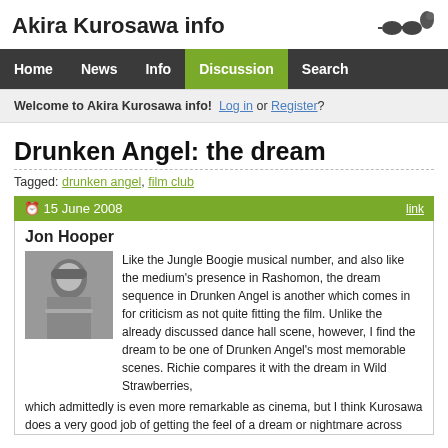Akira Kurosawa info
[Figure (illustration): Logo with sunglasses and a bird/figure silhouette]
Home | News | Info | Discussion | Search
Welcome to Akira Kurosawa info! Log in or Register?
Drunken Angel: the dream
Tagged: drunken angel, film club
15 June 2008 | link
Jon Hooper
[Figure (photo): Black and white photo of Jon Hooper]
Like the Jungle Boogie musical number, and also like the medium's presence in Rashomon, the dream sequence in Drunken Angel is another which comes in for criticism as not quite fitting the film. Unlike the already discussed dance hall scene, however, I find the dream to be one of Drunken Angel's most memorable scenes. Richie compares it with the dream in Wild Strawberries, which admittedly is even more remarkable as cinema, but I think Kurosawa does a very good job of getting the feel of a dream or nightmare across